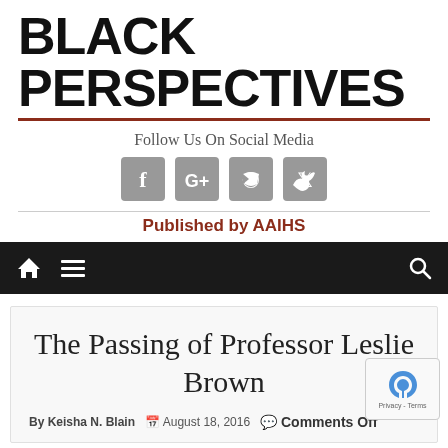BLACK PERSPECTIVES
Follow Us On Social Media
[Figure (other): Social media icons: Facebook, Google+, RSS feed, Twitter — grey rounded square buttons]
Published by AAIHS
[Figure (other): Navigation bar with home icon, hamburger menu icon on left and search icon on right, dark background]
The Passing of Professor Leslie Brown
By Keisha N. Blain   August 18, 2016   Comments Off